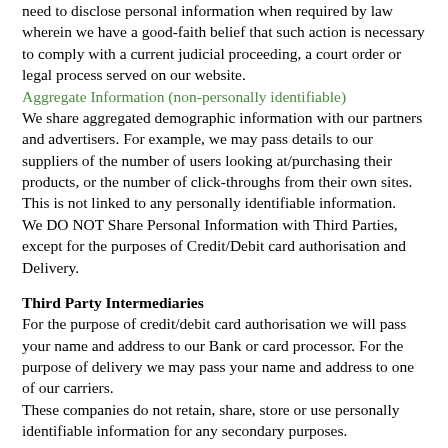need to disclose personal information when required by law wherein we have a good-faith belief that such action is necessary to comply with a current judicial proceeding, a court order or legal process served on our website.
Aggregate Information (non-personally identifiable)
We share aggregated demographic information with our partners and advertisers. For example, we may pass details to our suppliers of the number of users looking at/purchasing their products, or the number of click-throughs from their own sites. This is not linked to any personally identifiable information.
We DO NOT Share Personal Information with Third Parties, except for the purposes of Credit/Debit card authorisation and Delivery.
Third Party Intermediaries
For the purpose of credit/debit card authorisation we will pass your name and address to our Bank or card processor. For the purpose of delivery we may pass your name and address to one of our carriers.
These companies do not retain, share, store or use personally identifiable information for any secondary purposes.
Choice/Opt-out
Our users are given the opportunity to ‘opt-out’ of having their information used for purposes not directly related to our site at the point where we ask for information. For example, we may have